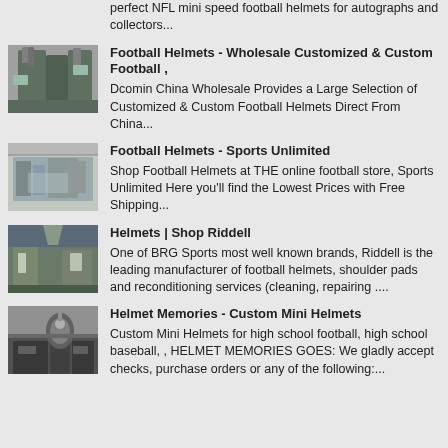perfect NFL mini speed football helmets for autographs and collectors...
[Figure (photo): Industrial equipment or machinery building exterior]
Football Helmets - Wholesale Customized & Custom Football ,
Dcomin China Wholesale Provides a Large Selection of Customized & Custom Football Helmets Direct From China...
[Figure (photo): Industrial facility or warehouse interior]
Football Helmets - Sports Unlimited
Shop Football Helmets at THE online football store, Sports Unlimited Here you'll find the Lowest Prices with Free Shipping...
[Figure (photo): Industrial building or hangar exterior]
Helmets | Shop Riddell
One of BRG Sports most well known brands, Riddell is the leading manufacturer of football helmets, shoulder pads and reconditioning services (cleaning, repairing ....
[Figure (photo): Industrial equipment or dust collector]
Helmet Memories - Custom Mini Helmets
Custom Mini Helmets for high school football, high school baseball, , HELMET MEMORIES GOES: We gladly accept checks, purchase orders or any of the following:...